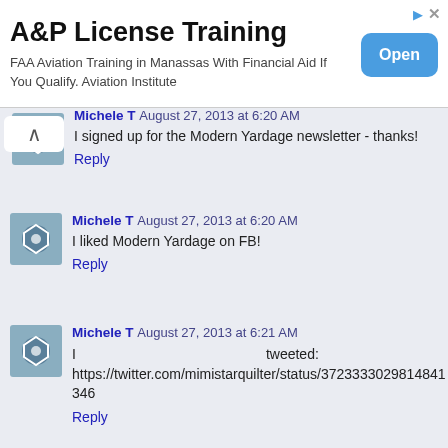[Figure (screenshot): Advertisement banner for A&P License Training. Title: 'A&P License Training'. Subtitle: 'FAA Aviation Training in Manassas With Financial Aid If You Qualify. Aviation Institute'. Blue 'Open' button on the right.]
Michele T August 27, 2013 at 6:20 AM
I signed up for the Modern Yardage newsletter - thanks!
Reply
Michele T August 27, 2013 at 6:20 AM
I liked Modern Yardage on FB!
Reply
Michele T August 27, 2013 at 6:21 AM
I tweeted: https://twitter.com/mimistarquilter/status/372333302981484134 6
Reply